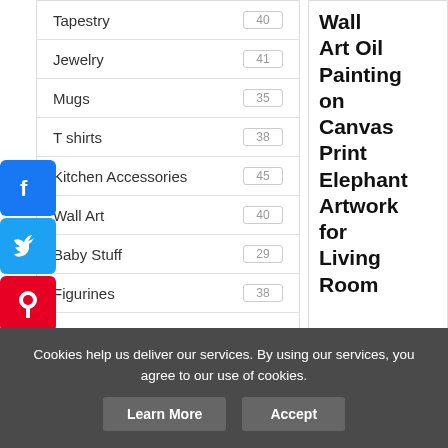| Category | Count |
| --- | --- |
| Tapestry | 40 |
| Jewelry | 41 |
| Mugs | 35 |
| T shirts | 38 |
| Kitchen Accessories | 45 |
| Wall Art | 40 |
| Baby Stuff | 29 |
| Figurines | 38 |
Wall Art Oil Painting on Canvas Print Elephant Artwork for Living Room
Cookies help us deliver our services. By using our services, you agree to our use of cookies.